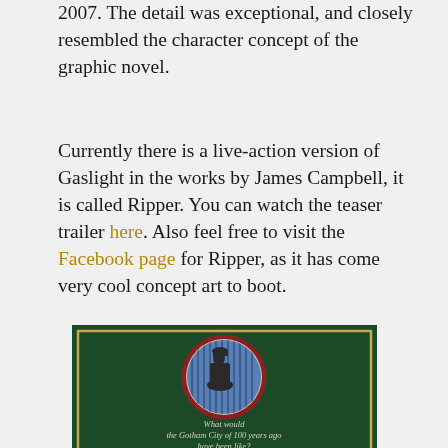2007. The detail was exceptional, and closely resembled the character concept of the graphic novel.
Currently there is a live-action version of Gaslight in the works by James Campbell, it is called Ripper. You can watch the teaser trailer here. Also feel free to visit the Facebook page for Ripper, as it has come very cool concept art to boot.
[Figure (illustration): Book cover with dark green background, circular medallion showing a shadowed figure in a top hat against blue vertical lines, with gold border frame. Caption reads: 'What would the Gotham City of 100 years ago have been like?']